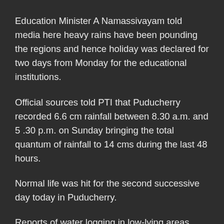Education Minister A Namassivayam told media here heavy rains have been pounding the regions and hence holiday was declared for two days from Monday for the educational institutions.
Official sources told PTI that Puducherry recorded 6.6 cm rainfall between 8.30 a.m. and 5 .30 p.m. on Sunday bringing the total quantum of rainfall to 14 cms during the last 48 hours.
Normal life was hit for the second successive day today in Puducherry.
Reports of water logging in low-lying areas, residential colonies, farm lands and main thoroughfares were